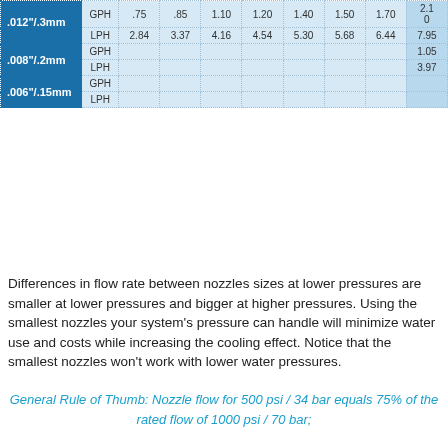| Nozzle | Unit | .75 | .85 | 1.10 | 1.20 | 1.40 | 1.50 | 1.70 | 2.10+ |
| --- | --- | --- | --- | --- | --- | --- | --- | --- | --- |
| .012"/.3mm | GPH | .75 | .85 | 1.10 | 1.20 | 1.40 | 1.50 | 1.70 | 2.10 |
| .012"/.3mm | LPH | 2.84 | 3.37 | 4.16 | 4.54 | 5.30 | 5.68 | 6.44 | 7.95 |
| .008"/.2mm | GPH |  |  |  |  |  |  |  | 1.05 |
| .008"/.2mm | LPH |  |  |  |  |  |  |  | 3.97 |
| .006"/.15mm | GPH |  |  |  |  |  |  |  |  |
| .006"/.15mm | LPH |  |  |  |  |  |  |  |  |
Differences in flow rate between nozzles sizes at lower pressures are smaller at lower pressures and bigger at higher pressures. Using the smallest nozzles your system's pressure can handle will minimize water use and costs while increasing the cooling effect. Notice that the smallest nozzles won't work with lower water pressures.
General Rule of Thumb: Nozzle flow for 500 psi / 34 bar equals 75% of the rated flow of 1000 psi / 70 bar; nozzle flow for 350 psi / 47 bar equals 50% of the rated flow...